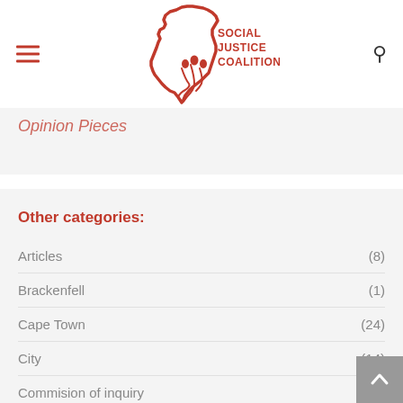[Figure (logo): Social Justice Coalition logo — red outline map of Africa with figures and text 'SOCIAL JUSTICE COALITION']
Opinion Pieces
Other categories:
Articles (8)
Brackenfell (1)
Cape Town (24)
City (14)
Commision of inquiry (14)
Criminal Justice Campaign (20)